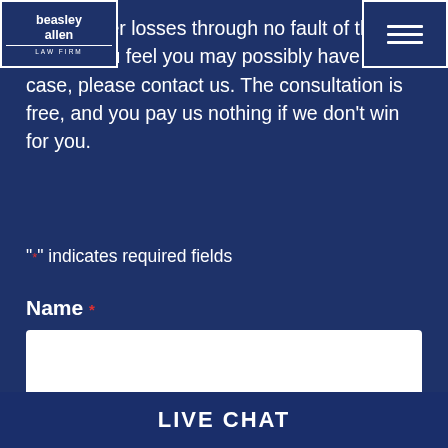beasley allen LAW FIRM [logo] [hamburger menu]
...ered other losses through no fault of their own. If you feel you may possibly have a case, please contact us. The consultation is free, and you pay us nothing if we don't win for you.
"*" indicates required fields
Name *
Phone *
Email
LIVE CHAT